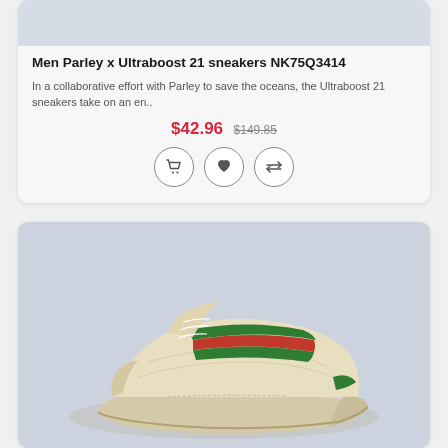[Figure (photo): Product card image placeholder (light blue-gray rectangle) for Men Parley x Ultraboost 21 sneakers]
Men Parley x Ultraboost 21 sneakers NK75Q3414
In a collaborative effort with Parley to save the oceans, the Ultraboost 21 sneakers take on an en..
$42.96  $149.85
[Figure (illustration): Three circular icon buttons: shopping cart, heart (favorite), and compare arrows]
[Figure (photo): Photo of a Gucci sneaker (cream/tan canvas with green and red/green stripe detail) on a light blue-gray background]